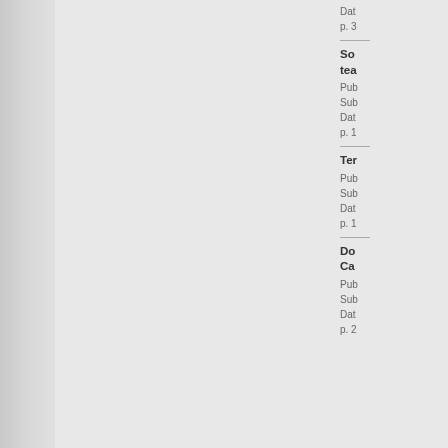Dat
p. 3
So... tea...
Pub
Sub
Dat
p. 1
Ter...
Pub
Sub
Dat
p. 1
Do... Ca...
Pub
Sub
Dat
p. 2